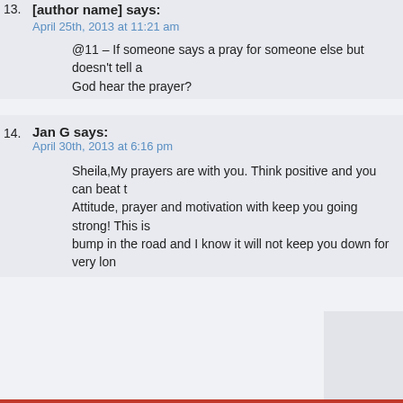13. [author truncated] says:
April 25th, 2013 at 11:21 am
@11 – If someone says a pray for someone else but doesn't tell a God hear the prayer?
14. Jan G says:
April 30th, 2013 at 6:16 pm
Sheila,My prayers are with you. Think positive and you can beat t Attitude, prayer and motivation with keep you going strong! This is bump in the road and I know it will not keep you down for very lon